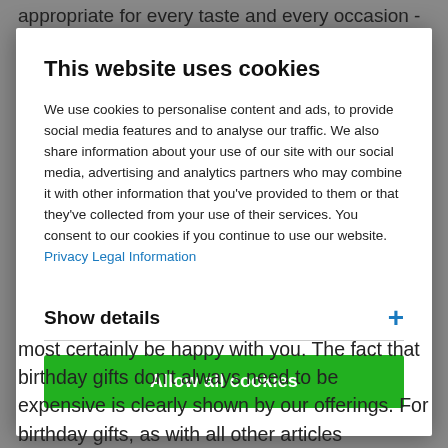appropriate for every taste and every occasion -
This website uses cookies
We use cookies to personalise content and ads, to provide social media features and to analyse our traffic. We also share information about your use of our site with our social media, advertising and analytics partners who may combine it with other information that you've provided to them or that they've collected from your use of their services. You consent to our cookies if you continue to use our website. Privacy Legal Information
Show details
Allow all cookies
most certainly be happy with you. The fact that birthday gifts don't always need to be expensive is clearly shown by our offerings. For birthday gifts, as with all other articles